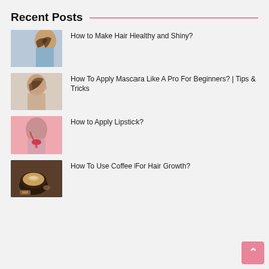Recent Posts
How to Make Hair Healthy and Shiny?
How To Apply Mascara Like A Pro For Beginners? | Tips & Tricks
How to Apply Lipstick?
How To Use Coffee For Hair Growth?